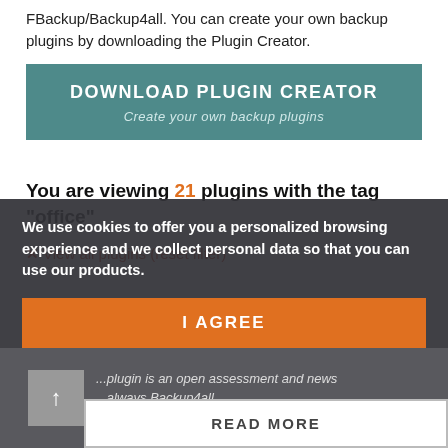FBackup/Backup4all. You can create your own backup plugins by downloading the Plugin Creator.
[Figure (other): DOWNLOAD PLUGIN CREATOR button in teal/dark cyan color with subtitle 'Create your own backup plugins']
You are viewing 21 plugins with the tag "office"
✕ View all plugins (reset filter)
We use cookies to offer you a personalized browsing experience and we collect personal data so that you can use our products.
[Figure (other): I AGREE orange button]
[Figure (other): READ MORE button with plugin preview card partially visible behind cookie overlay]